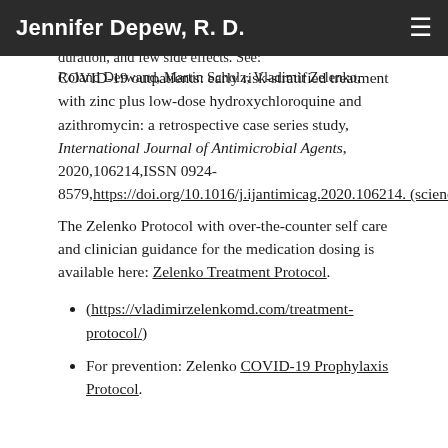Jennifer Depew, R. D.
COVID-19 outpatients: early risk-stratified treatment with zinc plus low-dose hydroxychloroquine and azithromycin: a retrospective case series study, International Journal of Antimicrobial Agents, 2020,106214,ISSN 0924-8579, https://doi.org/10.1016/j.ijantimicag.2020.106214. (sciencedirect.com)
The Zelenko Protocol with over-the-counter self care and clinician guidance for the medication dosing is available here: Zelenko Treatment Protocol.
(https://vladimirzelenkomd.com/treatment-protocol/)
For prevention: Zelenko COVID-19 Prophylaxis Protocol.